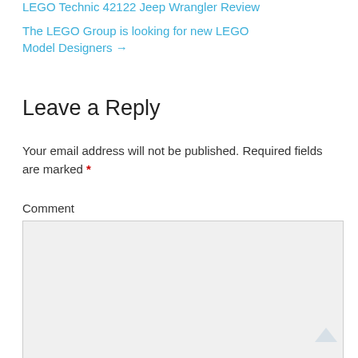LEGO Technic 42122 Jeep Wrangler Review
The LEGO Group is looking for new LEGO Model Designers →
Leave a Reply
Your email address will not be published. Required fields are marked *
Comment